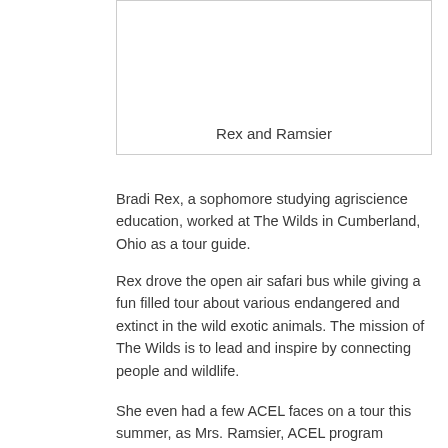[Figure (other): Image placeholder box with caption 'Rex and Ramsier' at the bottom]
Rex and Ramsier
Bradi Rex, a sophomore studying agriscience education, worked at The Wilds in Cumberland, Ohio as a tour guide.
Rex drove the open air safari bus while giving a fun filled tour about various endangered and extinct in the wild exotic animals. The mission of The Wilds is to lead and inspire by connecting people and wildlife.
She even had a few ACEL faces on a tour this summer, as Mrs. Ramsier, ACEL program coordinator at Ohio State ATI, and Dr. Filson